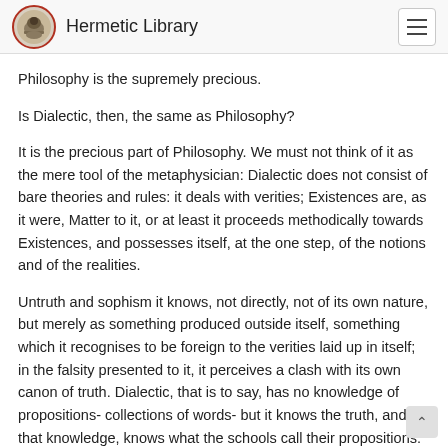Hermetic Library
Philosophy is the supremely precious.
Is Dialectic, then, the same as Philosophy?
It is the precious part of Philosophy. We must not think of it as the mere tool of the metaphysician: Dialectic does not consist of bare theories and rules: it deals with verities; Existences are, as it were, Matter to it, or at least it proceeds methodically towards Existences, and possesses itself, at the one step, of the notions and of the realities.
Untruth and sophism it knows, not directly, not of its own nature, but merely as something produced outside itself, something which it recognises to be foreign to the verities laid up in itself; in the falsity presented to it, it perceives a clash with its own canon of truth. Dialectic, that is to say, has no knowledge of propositions- collections of words- but it knows the truth, and, in that knowledge, knows what the schools call their propositions: it knows above all, the operation of the soul, and, by virtue of this knowing, it knows, too, what is affirmed and what is denied, whether the denial is of what was asserted or of something else, and whether propositions agree or